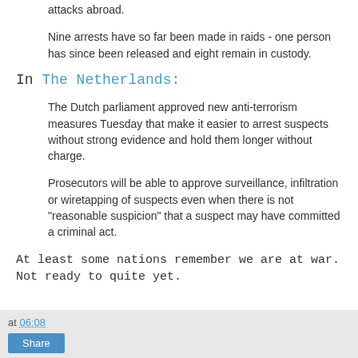attacks abroad.
Nine arrests have so far been made in raids - one person has since been released and eight remain in custody.
In The Netherlands:
The Dutch parliament approved new anti-terrorism measures Tuesday that make it easier to arrest suspects without strong evidence and hold them longer without charge.
Prosecutors will be able to approve surveillance, infiltration or wiretapping of suspects even when there is not "reasonable suspicion" that a suspect may have committed a criminal act.
At least some nations remember we are at war. Not ready to quite yet.
at 06:08  Share